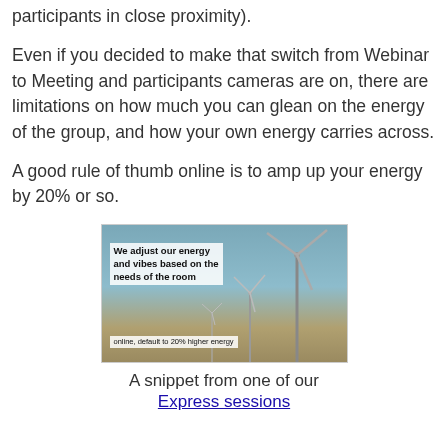participants in close proximity).
Even if you decided to make that switch from Webinar to Meeting and participants cameras are on, there are limitations on how much you can glean on the energy of the group, and how your own energy carries across.
A good rule of thumb online is to amp up your energy by 20% or so.
[Figure (photo): Wind turbines against a blue-grey sky with sandy ground, overlaid with white-background text reading: 'We adjust our energy and vibes based on the needs of the room' and a lower caption 'online, default to 20% higher energy']
A snippet from one of our Express sessions